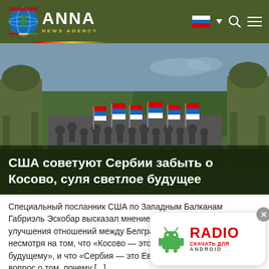ANNA NEWS AGENCY
[Figure (photo): Two soldiers in camouflage standing in foreground, crowd of people waving Serbian flags in background on a road with green hills]
США советуют Сербии забыть о Косово, суля светлое будущее
Специальный посланник США по Западным Балканам Габриэль Эскобар высказал мнение, что надвигается улучшения отношений между Белградом и Приштиной, несмотря на том, что «Косово — это прошлое, которое нужно забыт и следует перейти к будущему» и что «Сербия — это Европа». [...] где ответил на вопрос о том, почему [...]
[Figure (infographic): Android radio app advertisement: Android robot icon with RADIO text in red, СКАЧАТЬ ДЛЯ ANDROID subtitle]